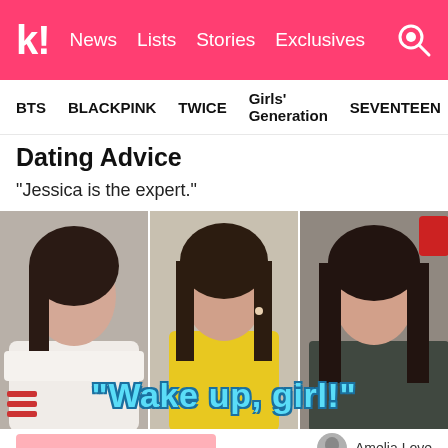k! News  Lists  Stories  Exclusives
BTS  BLACKPINK  TWICE  Girls' Generation  SEVENTEEN
Dating Advice
“Jessica is the expert.”
[Figure (photo): Three young women sitting side by side in a video still, with overlaid text reading "Wake up, girl!" in light blue bold letters with dark outline]
Amelia Love